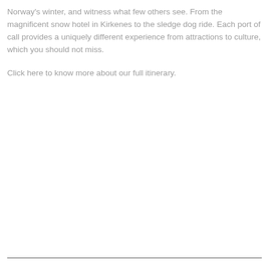Norway's winter, and witness what few others see. From the magnificent snow hotel in Kirkenes to the sledge dog ride. Each port of call provides a uniquely different experience from attractions to culture, which you should not miss.
Click here to know more about our full itinerary.